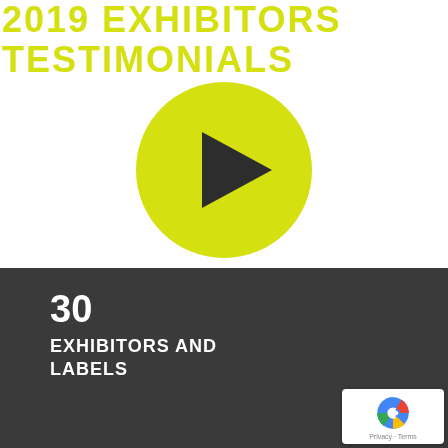2019 EXHIBITORS TESTIMONIALS
[Figure (illustration): Yellow circular play button with dark triangle/arrow pointing right, on white background]
30
EXHIBITORS AND LABELS
[Figure (other): reCAPTCHA badge with Privacy and Terms links]